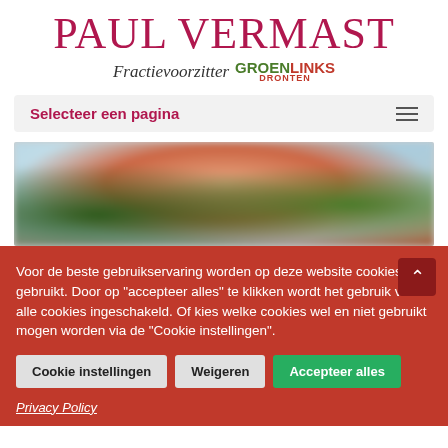PAUL VERMAST
Fractievoorzitter GROENLINKS DRONTEN
Selecteer een pagina
[Figure (photo): Blurry outdoor nature photo with flowers and greenery]
Voor de beste gebruikservaring worden op deze website cookies gebruikt. Door op "accepteer alles" te klikken wordt het gebruik van alle cookies ingeschakeld. Of kies welke cookies wel en niet gebruikt mogen worden via de "Cookie instellingen".
Cookie instellingen
Weigeren
Accepteer alles
Privacy Policy